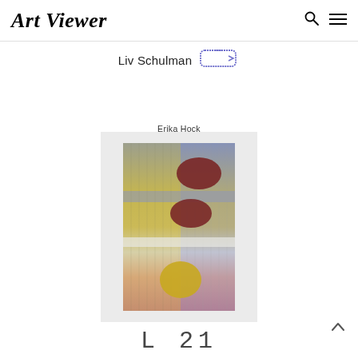Art Viewer
Liv Schulman
Erika Hock
[Figure (photo): Artwork by Erika Hock: a woven textile or fiber art piece featuring geometric shapes — three oval/ellipse forms (two dark maroon ovals in the upper section and one yellow arch shape in the lower section) on a background of vertical hanging threads transitioning from blue-grey at the top to yellow-green, then fading to salmon/peach-pink at the bottom. The artwork is mounted against a white wall.]
L 21